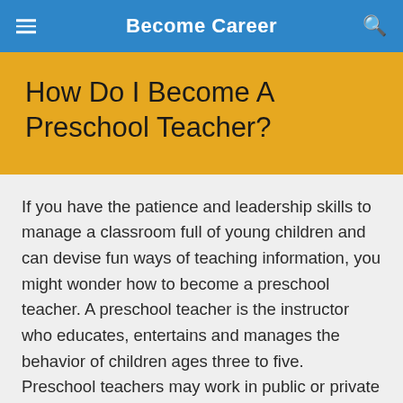Become Career
How Do I Become A Preschool Teacher?
If you have the patience and leadership skills to manage a classroom full of young children and can devise fun ways of teaching information, you might wonder how to become a preschool teacher. A preschool teacher is the instructor who educates, entertains and manages the behavior of children ages three to five. Preschool teachers may work in public or private schools, or in child day care centers. The responsibilities, qualifications and salaries of